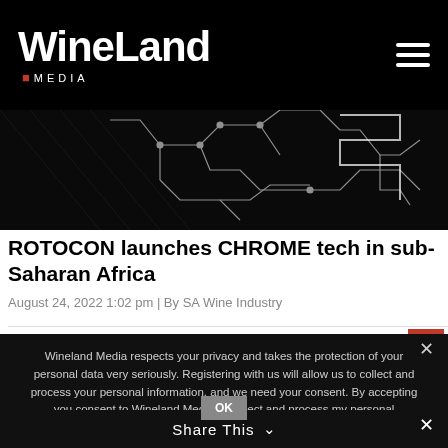WineLand MEDIA
[Figure (illustration): Dark banner image with white circuit/network line patterns on black background]
ROTOCON launches CHROME tech in sub-Saharan Africa
August 24, 2022 1:02 pm | By SA Wine Industry
Wineland Media respects your privacy and takes the protection of your personal data very seriously. Registering with us will allow us to collect and process your personal information, and we need your consent. By accepting you consent to Wineland Media to collect and process my personal information, for purposes of my application.
View Privacy Policy
Share This